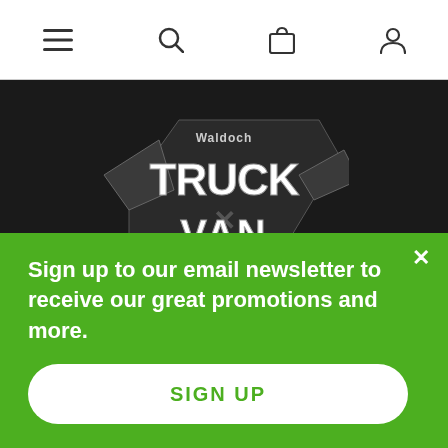[Figure (screenshot): Top navigation bar with hamburger menu, search, cart, and user account icons]
[Figure (logo): Waldoch Truck Van Accessories logo on dark background — stylized text with wing/lightning bolt graphic elements]
2016 GMC   Sierra 3500 HD   Denali   Crew Cab Pickup   w/Mount Kit; Dual Rear Wheel
Sign up to our email newsletter to receive our great promotions and more.
SIGN UP